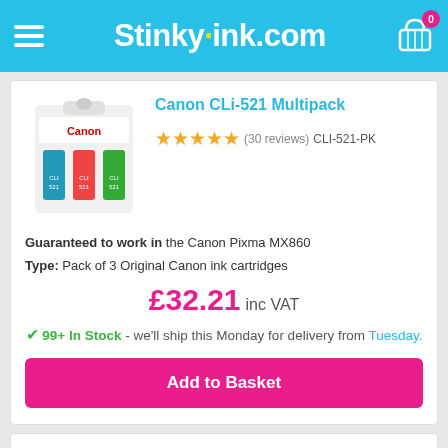Stinkyink.com
Canon CLi-521 Multipack
(30 reviews) CLI-521-PK
Guaranteed to work in the Canon Pixma MX860
Type: Pack of 3 Original Canon ink cartridges
£32.21 inc VAT
✓ 99+ In Stock - we'll ship this Monday for delivery from Tuesday.
Add to Basket